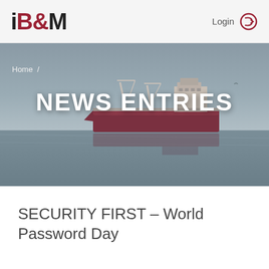IB&M  Login
[Figure (photo): A large cargo/bulk carrier ship at sea on calm water, viewed from a slight distance, with gray overcast sky and water reflections below the hull.]
Home /
NEWS ENTRIES
SECURITY FIRST – World Password Day